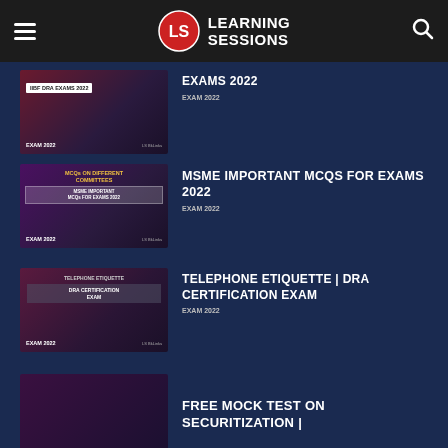Learning Sessions
[Figure (screenshot): Thumbnail for IIBF DRA EXAMS 2022 video]
EXAMS 2022
EXAM 2022
[Figure (screenshot): Thumbnail for MSME Important MCQs For Exams 2022 video with MCQs On Different Committees]
MSME IMPORTANT MCQs FOR EXAMS 2022
EXAM 2022
[Figure (screenshot): Thumbnail for Telephone Etiquette | DRA Certification Exam video]
TELEPHONE ETIQUETTE | DRA CERTIFICATION EXAM
EXAM 2022
FREE MOCK TEST ON SECURITIZATION |